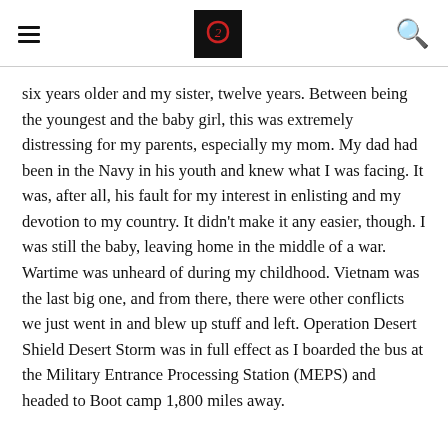[hamburger menu] [logo] [search icon]
six years older and my sister, twelve years. Between being the youngest and the baby girl, this was extremely distressing for my parents, especially my mom. My dad had been in the Navy in his youth and knew what I was facing. It was, after all, his fault for my interest in enlisting and my devotion to my country. It didn't make it any easier, though. I was still the baby, leaving home in the middle of a war. Wartime was unheard of during my childhood. Vietnam was the last big one, and from there, there were other conflicts we just went in and blew up stuff and left. Operation Desert Shield Desert Storm was in full effect as I boarded the bus at the Military Entrance Processing Station (MEPS) and headed to Boot camp 1,800 miles away.